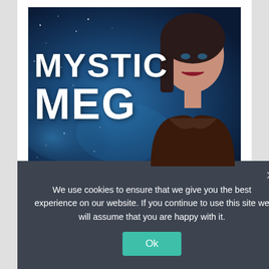[Figure (photo): Mystic Meg promotional banner image: large bold white text 'MYSTIC MEG' on a deep blue starry night sky background with a woman with dark hair on the right side]
MYSTIC MEG
We use cookies to ensure that we give you the best experience on our website. If you continue to use this site we will assume that you are happy with it.